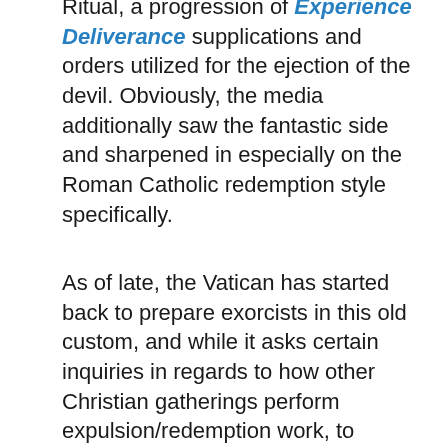Ritual, a progression of Experience Deliverance supplications and orders utilized for the ejection of the devil. Obviously, the media additionally saw the fantastic side and sharpened in especially on the Roman Catholic redemption style specifically.
As of late, the Vatican has started back to prepare exorcists in this old custom, and while it asks certain inquiries in regards to how other Christian gatherings perform expulsion/redemption work, to numerous it is a welcome re-visitation of genuine otherworldly business.